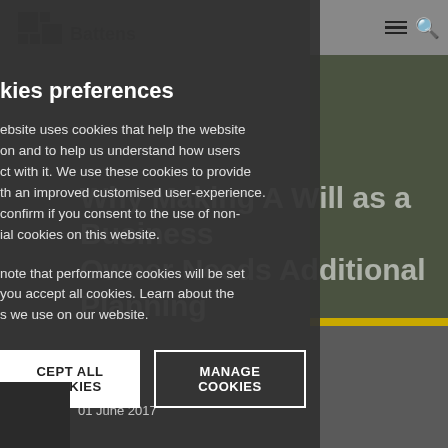Battens — logo and navigation
kies preferences
ebsite uses cookies that help the website on and to help us understand how users ct with it. We use these cookies to provide th an improved customised user-experience. confirm if you consent to the use of non- ial cookies on this website.
Why Making A Will as a Business Owner Needs Additional Planning
note that performance cookies will be set you accept all cookies. Learn about the s we use on our website.
ACCEPT ALL COOKIES
MANAGE COOKIES
01 June 2017